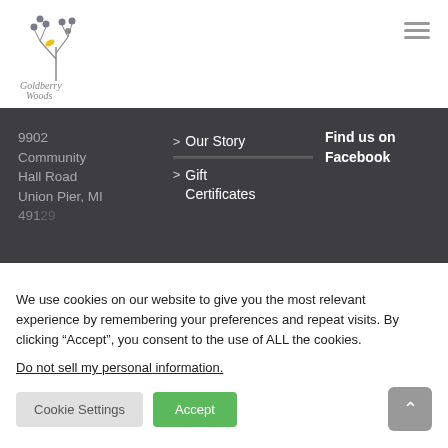[Figure (logo): Goldberry Woods logo with branch/berry illustration and text 'Goldberry Woods']
9902 Community Hall Road Union Pier, MI 49129
> Our Story
> Gift Certificates
Find us on Facebook
We use cookies on our website to give you the most relevant experience by remembering your preferences and repeat visits. By clicking “Accept”, you consent to the use of ALL the cookies.
Do not sell my personal information.
Cookie Settings
Accept